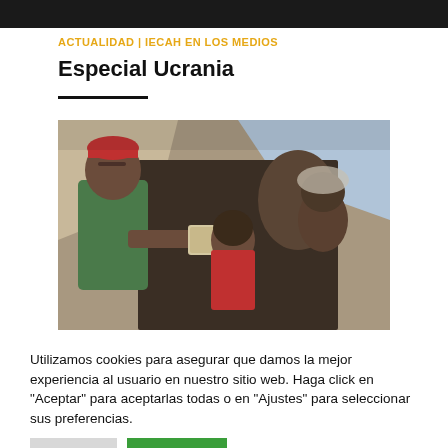[Figure (photo): Dark header bar at top of webpage]
ACTUALIDAD | IECAH EN LOS MEDIOS
Especial Ucrania
[Figure (photo): Photo of African people, including a man in a red cap and green shirt, a child in a red shirt, and others, sheltering under a tarp or makeshift shelter]
Utilizamos cookies para asegurar que damos la mejor experiencia al usuario en nuestro sitio web. Haga click en "Aceptar" para aceptarlas todas o en "Ajustes" para seleccionar sus preferencias.
Ajustes   Aceptar